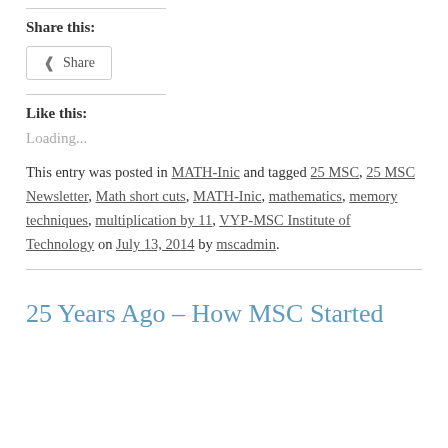Share this:
Share (button)
Like this:
Loading...
This entry was posted in MATH-Inic and tagged 25 MSC, 25 MSC Newsletter, Math short cuts, MATH-Inic, mathematics, memory techniques, multiplication by 11, VYP-MSC Institute of Technology on July 13, 2014 by mscadmin.
25 Years Ago – How MSC Started